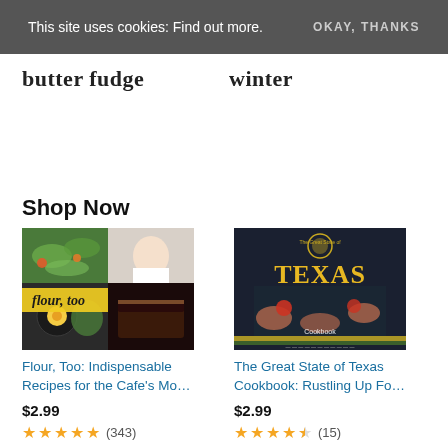This site uses cookies: Find out more. OKAY, THANKS
butter fudge
winter
Shop Now
[Figure (photo): Book cover: Flour, Too: Indispensable Recipes for the Cafe's Mo...]
Flour, Too: Indispensable Recipes for the Cafe's Mo...
$2.99
★★★★★ (343)
[Figure (photo): Book cover: The Great State of Texas Cookbook: Rustling Up Fo...]
The Great State of Texas Cookbook: Rustling Up Fo...
$2.99
★★★★☆ (15)